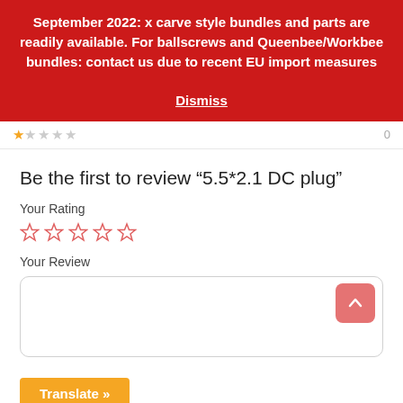September 2022: x carve style bundles and parts are readily available. For ballscrews and Queenbee/Workbee bundles: contact us due to recent EU import measures
Dismiss
Be the first to review “5.5*2.1 DC plug”
Your Rating
[Figure (other): Five empty star outlines for rating selection]
Your Review
[Figure (other): Text area input box for writing a review with scroll-to-top button]
Translate »